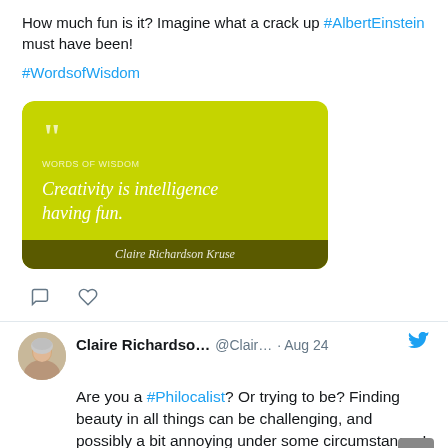How much fun is it?  Imagine what a crack up #AlbertEinstein must have been!

#WordsofWisdom
[Figure (photo): Quote card with lime-green background reading 'Creativity is intelligence having fun.' with attribution and footer 'Claire Richardson Kruse']
Claire Richardso... @Clair... · Aug 24 — Are you a #Philocalist?  Or trying to be? Finding beauty in all things can be challenging, and possibly a bit annoying under some circumstances!

What is something unusual you find beauty
What is something unusual you find beauty